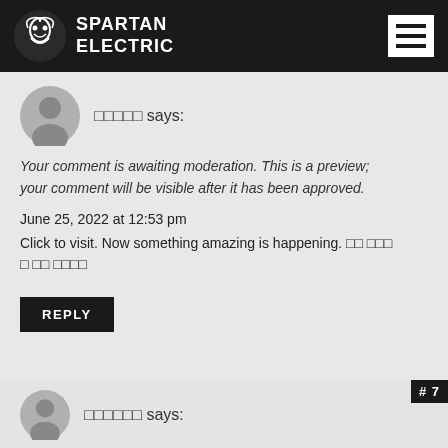SPARTAN ELECTRIC
□□□□□ says:
Your comment is awaiting moderation. This is a preview; your comment will be visible after it has been approved.
June 25, 2022 at 12:53 pm
Click to visit. Now something amazing is happening. □□ □□□□ □□ □□□□
REPLY
□□□□□□ says: